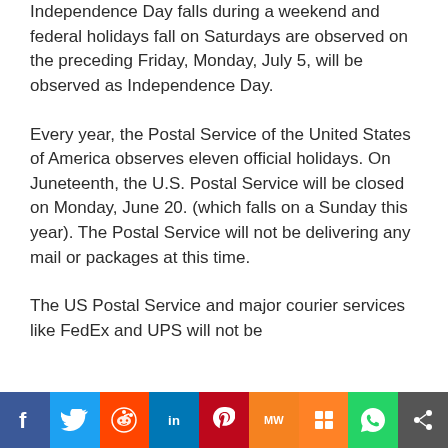Independence Day falls during a weekend and federal holidays fall on Saturdays are observed on the preceding Friday, Monday, July 5, will be observed as Independence Day.
Every year, the Postal Service of the United States of America observes eleven official holidays. On Juneteenth, the U.S. Postal Service will be closed on Monday, June 20. (which falls on a Sunday this year). The Postal Service will not be delivering any mail or packages at this time.
The US Postal Service and major courier services like FedEx and UPS will not be
[Figure (other): Social media sharing bar with buttons for Facebook, Twitter, Reddit, LinkedIn, Pinterest, MixedVoices, Mix, WhatsApp, and Share]